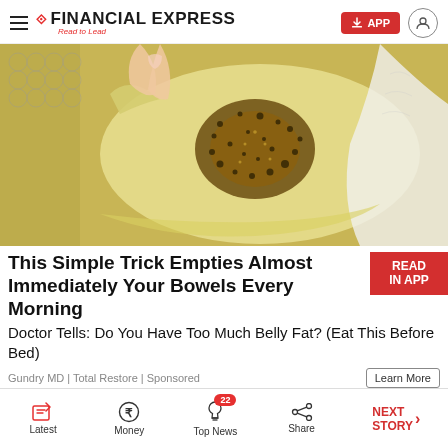FINANCIAL EXPRESS — Read to Lead
[Figure (photo): Close-up photo of a translucent gel/substance with dark brown granules/seeds pressed into it, held by a hand with painted nails against a textured background]
This Simple Trick Empties Almost Immediately Your Bowels Every Morning
Doctor Tells: Do You Have Too Much Belly Fat? (Eat This Before Bed)
Gundry MD | Total Restore | Sponsored
Latest | Money | Top News (22) | Share | NEXT STORY